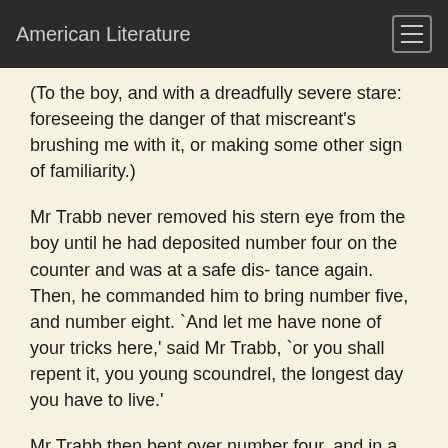American Literature
(To the boy, and with a dreadfully severe stare: foreseeing the danger of that miscreant's brushing me with it, or making some other sign of familiarity.)
Mr Trabb never removed his stern eye from the boy until he had deposited number four on the counter and was at a safe dis- tance again. Then, he commanded him to bring number five, and number eight. `And let me have none of your tricks here,' said Mr Trabb, `or you shall repent it, you young scoundrel, the longest day you have to live.'
Mr Trabb then bent over number four, and in a sort of deferential confidence recommended it to me as a light article for summer wear, an article much in